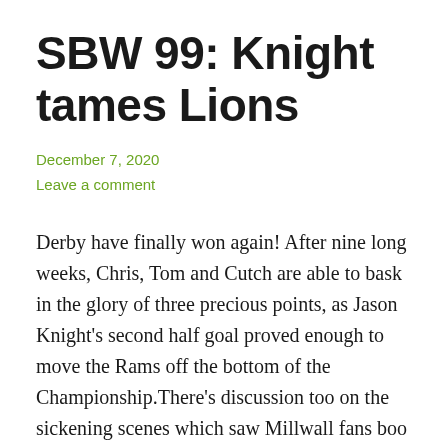SBW 99: Knight tames Lions
December 7, 2020
Leave a comment
Derby have finally won again! After nine long weeks, Chris, Tom and Cutch are able to bask in the glory of three precious points, as Jason Knight's second half goal proved enough to move the Rams off the bottom of the Championship.There's discussion too on the sickening scenes which saw Millwall fans boo the… Continue reading